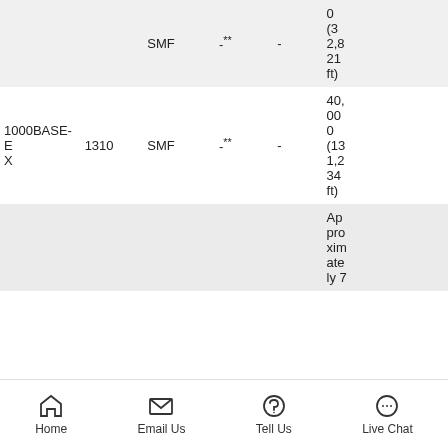|  |  | SMF | -** | - | 0 (32,821 ft) |
| 1000BASE-EX | 1310 | SMF | -** | - | 40,000 (131,234 ft) |
|  |  |  |  |  | Approximately 7... |
Home | Email Us | Tell Us | Live Chat